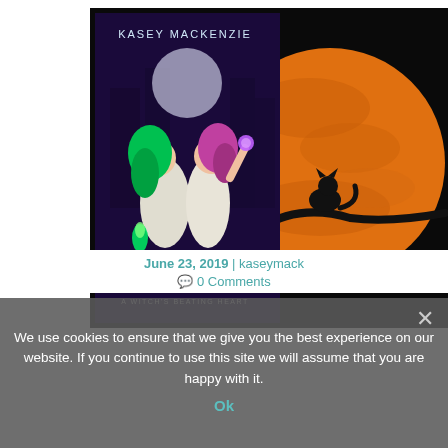[Figure (illustration): Book cover of 'Eternal Academy: A Witch's Beating Heart' by Kasey MacKenzie, showing two young women — one with green hair holding a green flame, one with pink hair holding a purple magical orb — set against a dark blue fantasy castle background with a full moon. To the right, a large orange moon with a black cat silhouette sitting on a branch.]
June 23, 2019 | kaseymack
0 Comments
We use cookies to ensure that we give you the best experience on our website. If you continue to use this site we will assume that you are happy with it.
Ok